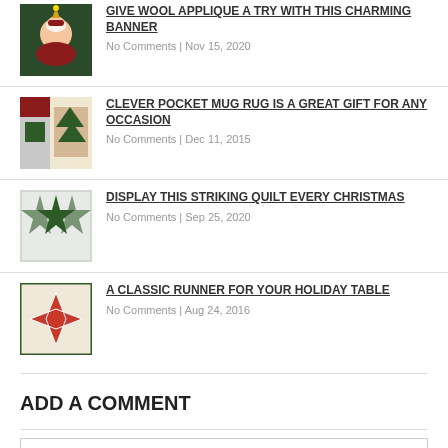GIVE WOOL APPLIQUE A TRY WITH THIS CHARMING BANNER | No Comments | Nov 15, 2020
CLEVER POCKET MUG RUG IS A GREAT GIFT FOR ANY OCCASION | No Comments | Dec 11, 2015
DISPLAY THIS STRIKING QUILT EVERY CHRISTMAS | No Comments | Sep 25, 2020
A CLASSIC RUNNER FOR YOUR HOLIDAY TABLE | No Comments | Aug 24, 2016
ADD A COMMENT
Your email address will not be published. Required